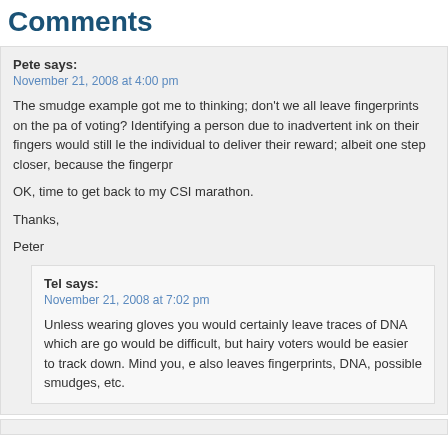Comments
Pete says:
November 21, 2008 at 4:00 pm
The smudge example got me to thinking; don't we all leave fingerprints on the pa of voting? Identifying a person due to inadvertent ink on their fingers would still le the individual to deliver their reward; albeit one step closer, because the fingerpr
OK, time to get back to my CSI marathon.
Thanks,
Peter
Tel says:
November 21, 2008 at 7:02 pm
Unless wearing gloves you would certainly leave traces of DNA which are go would be difficult, but hairy voters would be easier to track down. Mind you, e also leaves fingerprints, DNA, possible smudges, etc.